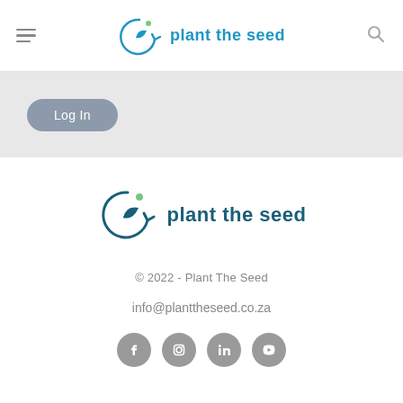[Figure (logo): Plant The Seed logo in header: circular arrow with leaf icon and text 'plant the seed' in blue]
[Figure (illustration): Hamburger menu icon (three horizontal lines) on the left of the header]
[Figure (illustration): Search (magnifying glass) icon on the right of the header]
Log In
[Figure (logo): Plant The Seed footer logo: circular arrow with leaf icon and text 'plant the seed' in dark teal]
© 2022 - Plant The Seed
info@planttheseed.co.za
[Figure (illustration): Social media icons: Facebook, Instagram, LinkedIn, YouTube - all in gray circles]